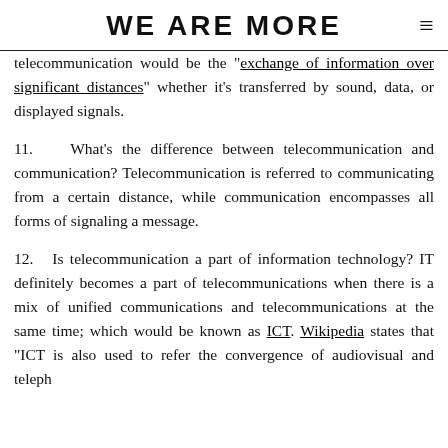WE ARE MORE
telecommunication would be the "exchange of information over significant distances" whether it's transferred by sound, data, or displayed signals.
11. What's the difference between telecommunication and communication? Telecommunication is referred to communicating from a certain distance, while communication encompasses all forms of signaling a message.
12. Is telecommunication a part of information technology? IT definitely becomes a part of telecommunications when there is a mix of unified communications and telecommunications at the same time; which would be known as ICT. Wikipedia states that “ICT is also used to refer the convergence of audiovisual and telep…